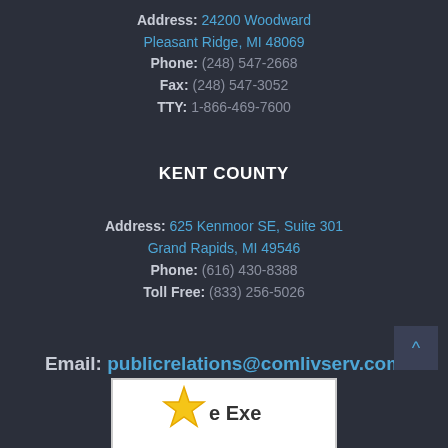Address: 24200 Woodward
Pleasant Ridge, MI 48069
Phone: (248) 547-2668
Fax: (248) 547-3052
TTY: 1-866-469-7600
KENT COUNTY
Address: 625 Kenmoor SE, Suite 301
Grand Rapids, MI 49546
Phone: (616) 430-8388
Toll Free: (833) 256-5026
Email: publicrelations@comlivserv.com
[Figure (logo): Award badge with star shape, text partially visible showing 'e Exe']